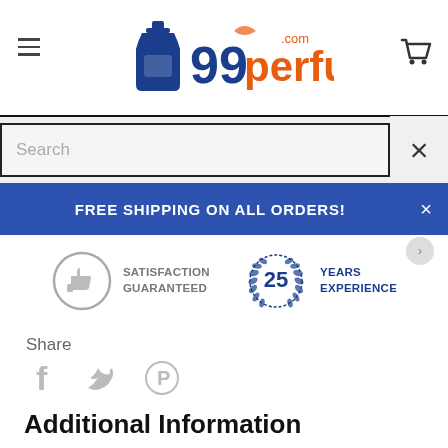[Figure (logo): 99perfume.com logo with blue perfume bottle and orange text]
[Figure (screenshot): Search bar with placeholder text 'Search' and close X button]
FREE SHIPPING ON ALL ORDERS!
[Figure (infographic): Satisfaction Guaranteed badge with thumbs up icon in circle]
[Figure (infographic): 25 Years Experience badge with laurel wreath circle]
Share
[Figure (infographic): Social share icons: Facebook, Twitter, Pinterest]
Additional Information